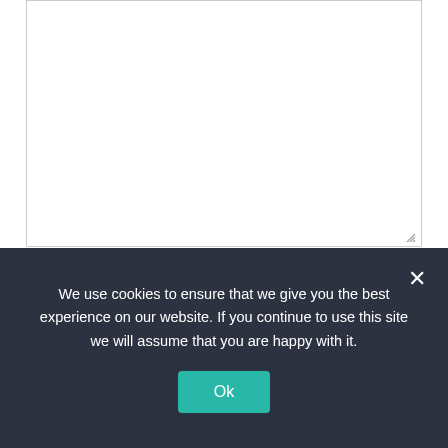[Figure (screenshot): A textarea input box with a resize handle in the bottom-right corner]
Name *
[Figure (screenshot): A text input field for Name]
We use cookies to ensure that we give you the best experience on our website. If you continue to use this site we will assume that you are happy with it.
Ok